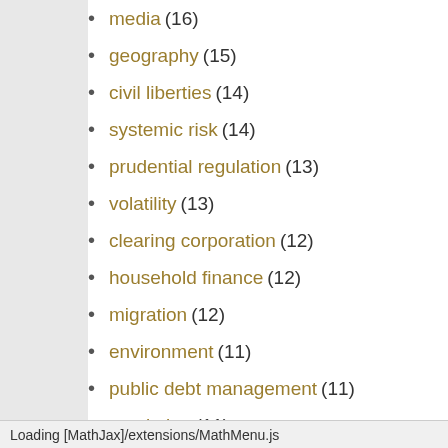media (16)
geography (15)
civil liberties (14)
systemic risk (14)
prudential regulation (13)
volatility (13)
clearing corporation (12)
household finance (12)
migration (12)
environment (11)
public debt management (11)
resolution (11)
public finance (10)
surveillance (10)
IMF (9)
mores (9)
Loading [MathJax]/extensions/MathMenu.js